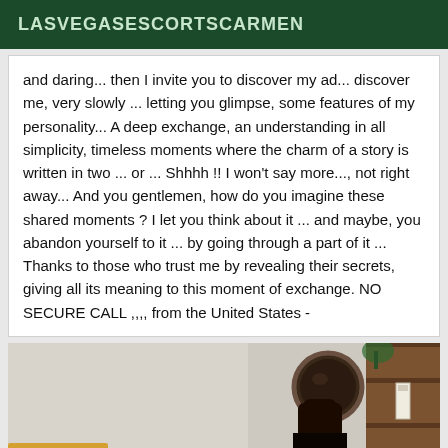LASVEGASESCORTSCARMEN
and daring... then I invite you to discover my ad... discover me, very slowly ... letting you glimpse, some features of my personality... A deep exchange, an understanding in all simplicity, timeless moments where the charm of a story is written in two ... or ... Shhhh !! I won't say more..., not right away... And you gentlemen, how do you imagine these shared moments ? I let you think about it ... and maybe, you abandon yourself to it ... by going through a part of it ... Thanks to those who trust me by revealing their secrets, giving all its meaning to this moment of exchange. NO SECURE CALL ,,,, from the United States -
[Figure (photo): Interior room photo showing a wall, a round dark mirror, a wooden cabinet with an item on it, a gloved hand, and a warm golden accent at the bottom left]